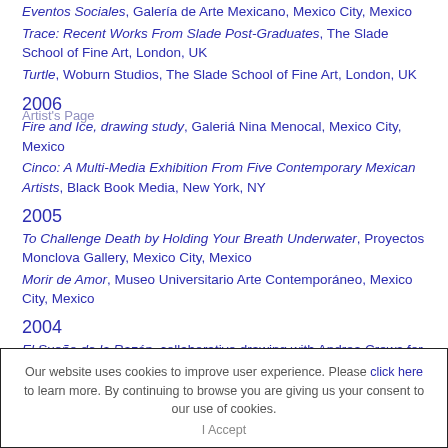Eventos Sociales, Galería de Arte Mexicano, Mexico City, Mexico
Trace: Recent Works From Slade Post-Graduates, The Slade School of Fine Art, London, UK
Turtle, Woburn Studios, The Slade School of Fine Art, London, UK
2006
Fire and Ice, drawing study, Galeriá Nina Menocal, Mexico City, Mexico
Cinco: A Multi-Media Exhibition From Five Contemporary Mexican Artists, Black Book Media, New York, NY
2005
To Challenge Death by Holding Your Breath Underwater, Proyectos Monclova Gallery, Mexico City, Mexico
Morir de Amor, Museo Universitario Arte Contemporáneo, Mexico City, Mexico
2004
El Sueño de la Razón, collaborative drawing with Andrea Crews for Localismos, Mexico City, Mexico
Our website uses cookies to improve user experience. Please click here to learn more. By continuing to browse you are giving us your consent to our use of cookies. I Accept